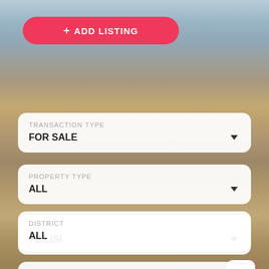[Figure (screenshot): App UI screenshot showing an add listing button and property search filter form over a blurred city background]
+ ADD LISTING
TRANSACTION TYPE
FOR SALE
PROPERTY TYPE
ALL
CITY
TBILISI
DISTRICT
ALL
PRICE
FROM    TO